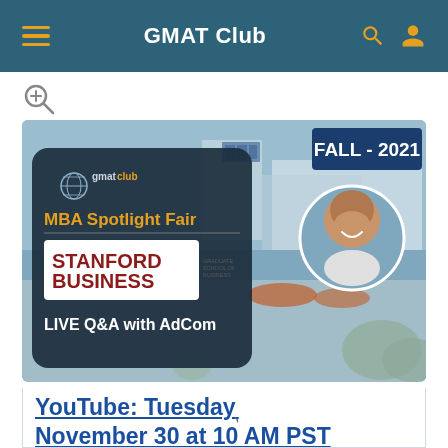GMAT Club
[Figure (screenshot): MBA Spotlight Fair - Stanford Business School of Graduate Business - LIVE Q&A with AdCom - FALL 2021 event banner with campus background and portrait of a smiling bald man]
YouTube: Tuesday, November 30 at 10 AM PST